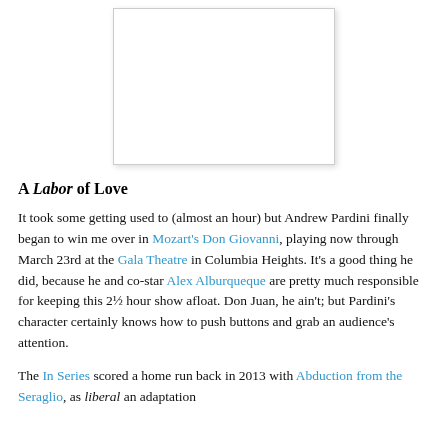[Figure (photo): A photograph placeholder shown as a white rectangle with border and shadow, centered in the upper portion of the page.]
A Labor of Love
It took some getting used to (almost an hour) but Andrew Pardini finally began to win me over in Mozart's Don Giovanni, playing now through March 23rd at the Gala Theatre in Columbia Heights. It's a good thing he did, because he and co-star Alex Alburqueque are pretty much responsible for keeping this 2½ hour show afloat. Don Juan, he ain't; but Pardini's character certainly knows how to push buttons and grab an audience's attention.
The In Series scored a home run back in 2013 with Abduction from the Seraglio, as liberal an adaptation